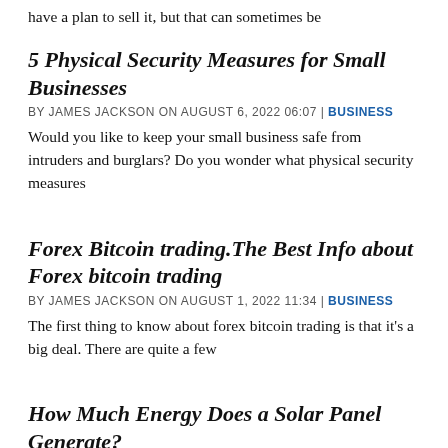have a plan to sell it, but that can sometimes be
5 Physical Security Measures for Small Businesses
BY JAMES JACKSON ON AUGUST 6, 2022 06:07 | BUSINESS
Would you like to keep your small business safe from intruders and burglars? Do you wonder what physical security measures
Forex Bitcoin trading.The Best Info about Forex bitcoin trading
BY JAMES JACKSON ON AUGUST 1, 2022 11:34 | BUSINESS
The first thing to know about forex bitcoin trading is that it's a big deal. There are quite a few
How Much Energy Does a Solar Panel Generate?
BY JAMES JACKSON ON JULY 31, 2022 17:44 | BUSINESS
The solar energy industry has come a long way from this th